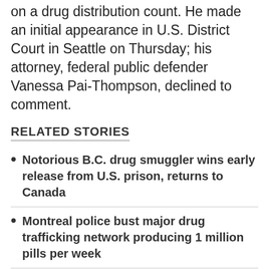on a drug distribution count. He made an initial appearance in U.S. District Court in Seattle on Thursday; his attorney, federal public defender Vanessa Pai-Thompson, declined to comment.
RELATED STORIES
Notorious B.C. drug smuggler wins early release from U.S. prison, returns to Canada
Montreal police bust major drug trafficking network producing 1 million pills per week
According to a federal criminal complaint filed in U.S. District Court in Seattle, Faupel told investigators that he had been hiking near a marina in Sidney, on Vancouver Island, when someone approached him and offered him